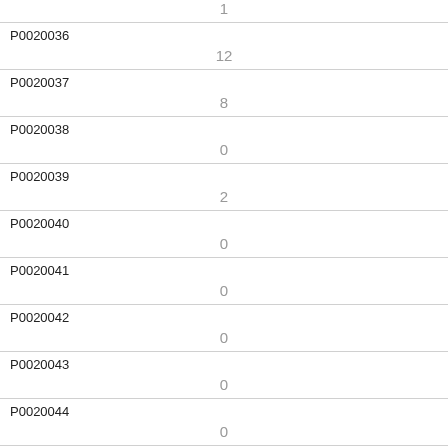| ID | Value |
| --- | --- |
|  | 1 |
| P0020036 | 12 |
| P0020037 | 8 |
| P0020038 | 0 |
| P0020039 | 2 |
| P0020040 | 0 |
| P0020041 | 0 |
| P0020042 | 0 |
| P0020043 | 0 |
| P0020044 | 0 |
| P0020045 | 0 |